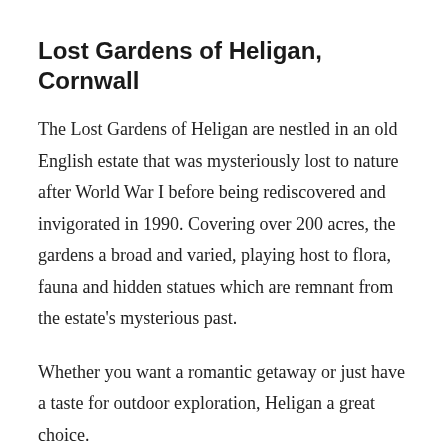Lost Gardens of Heligan, Cornwall
The Lost Gardens of Heligan are nestled in an old English estate that was mysteriously lost to nature after World War I before being rediscovered and invigorated in 1990. Covering over 200 acres, the gardens a broad and varied, playing host to flora, fauna and hidden statues which are remnant from the estate’s mysterious past.
Whether you want a romantic getaway or just have a taste for outdoor exploration, Heligan a great choice.
Camera Obscura, Edinburgh